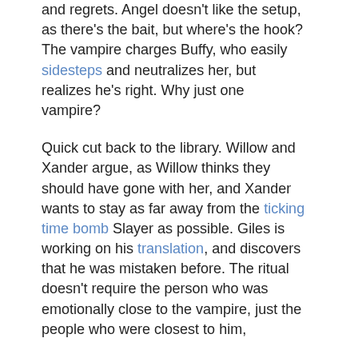and regrets. Angel doesn't like the setup, as there's the bait, but where's the hook? The vampire charges Buffy, who easily sidesteps and neutralizes her, but realizes he's right. Why just one vampire?
Quick cut back to the library. Willow and Xander argue, as Willow thinks they should have gone with her, and Xander wants to stay as far away from the ticking time bomb Slayer as possible. Giles is working on his translation, and discovers that he was mistaken before. The ritual doesn't require the person who was emotionally close to the vampire, just the people who were closest to him,